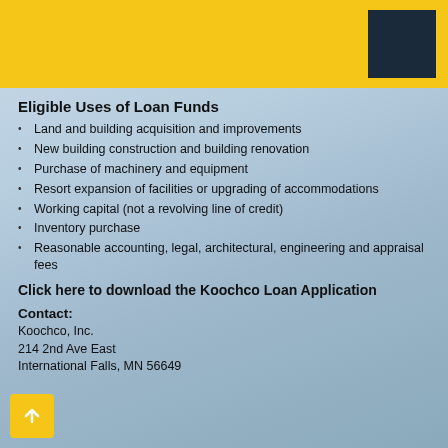Eligible Uses of Loan Funds
Land and building acquisition and improvements
New building construction and building renovation
Purchase of machinery and equipment
Resort expansion of facilities or upgrading of accommodations
Working capital (not a revolving line of credit)
Inventory purchase
Reasonable accounting, legal, architectural, engineering and appraisal fees
Click here to download the Koochco Loan Application
Contact:
Koochco, Inc.
214 2nd Ave East
International Falls, MN 56649